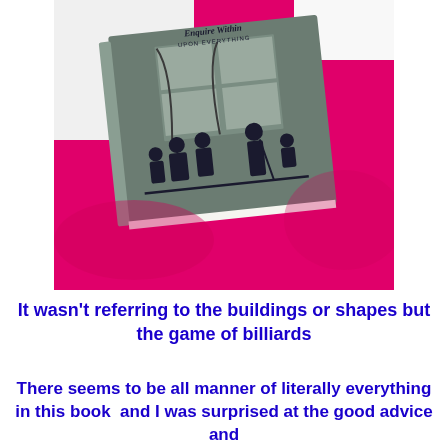[Figure (photo): A photograph of a green hardcover book titled 'Enquire Within Upon Everything', lying on a bright pink/magenta fabric surface. The book cover shows silhouettes of people standing in what appears to be a domestic scene with a window and curtains in the background.]
It wasn't referring to the buildings or shapes but the game of billiards
There seems to be all manner of literally everything in this book  and I was surprised at the good advice and